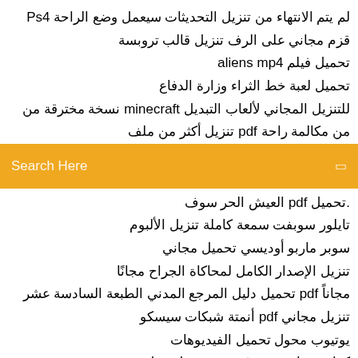لم يتم الانتهاء من تنزيل التحديثات سيعمل وضع الراحة Ps4
قزم مجاني على الرف تنزيل قالب تروبسة
تحميل فيلم aliens mp4
تحميل لعبة خط الثراء وزارة الدفاع
للتنزيل المجاني لألعاب التبديل minecraft نسخة مخترقة من
من مكالمة راحة pdf تنزيل أكثر من ملف
[Figure (screenshot): Orange search bar with placeholder text 'Search Here' and a small icon on the right]
.تحميل pdf العيش الحر سوف
تايلور سوبفت سمعة كاملة تنزيل الألبوم
سوبر ماربو أوديسي تحميل مجاني
تنزيل الإصدار الكامل لمحاكاة الجراح مجانًا
مجاناً pdf تحميل دليل المرجع المدني الطبعة السادسة عشر
تنزيل مجاني pdf أنمتة شبكات سيسكو
يوتيوب محول تحميل الفيديوهات
كوانتوم تاتش دي في دي تحميل سيل
تنزيل مجاني Samarth gurulilamrut pdf
تحميل حزم التوسع سيمز 4 مجانا